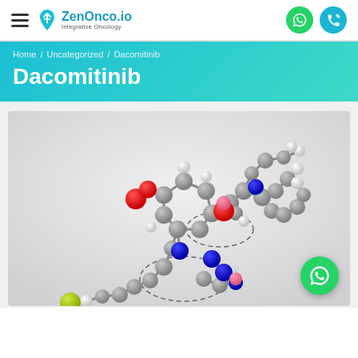ZenOnco.io – Integrative Oncology
Home / Uncategorized / Dacomitinib
Dacomitinib
[Figure (illustration): 3D molecular ball-and-stick model of Dacomitinib drug compound, showing grey carbon atoms, blue nitrogen atoms, red oxygen atoms, white hydrogen atoms, pink/rose atoms, and yellow-green fluorine/sulfur atoms, on a light grey background.]